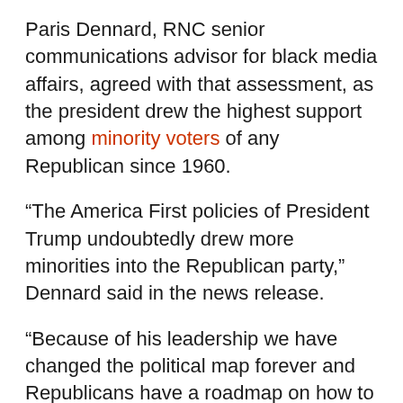Paris Dennard, RNC senior communications advisor for black media affairs, agreed with that assessment, as the president drew the highest support among minority voters of any Republican since 1960.
“The America First policies of President Trump undoubtedly drew more minorities into the Republican party,” Dennard said in the news release.
“Because of his leadership we have changed the political map forever and Republicans have a roadmap on how to be competitive and victorious in nontraditional communities.”